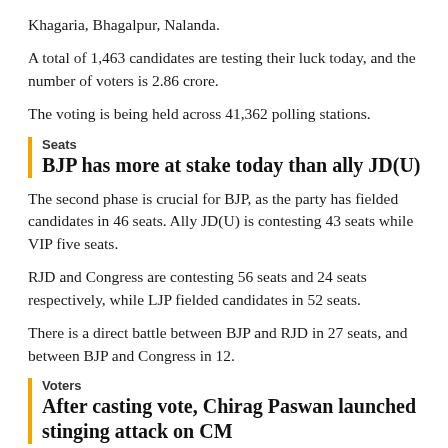Khagaria, Bhagalpur, Nalanda.
A total of 1,463 candidates are testing their luck today, and the number of voters is 2.86 crore.
The voting is being held across 41,362 polling stations.
Seats
BJP has more at stake today than ally JD(U)
The second phase is crucial for BJP, as the party has fielded candidates in 46 seats. Ally JD(U) is contesting 43 seats while VIP five seats.
RJD and Congress are contesting 56 seats and 24 seats respectively, while LJP fielded candidates in 52 seats.
There is a direct battle between BJP and RJD in 27 seats, and between BJP and Congress in 12.
Voters
After casting vote, Chirag Paswan launched stinging attack on CM